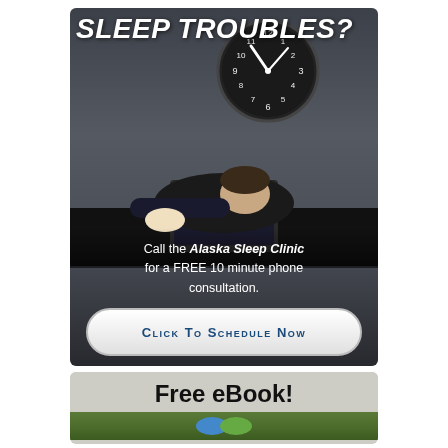[Figure (infographic): Advertisement for Alaska Sleep Clinic showing a man in a suit asleep at a desk with a laptop, a clock on the wall behind, text 'SLEEP TROUBLES?' at top, call to action text and a 'Click To Schedule Now' button]
SLEEP TROUBLES?
Call the Alaska Sleep Clinic for a FREE 10 minute phone consultation.
Click To Schedule Now
[Figure (infographic): Bottom portion of a 'Free eBook!' advertisement banner with green/nature imagery at the bottom]
Free eBook!